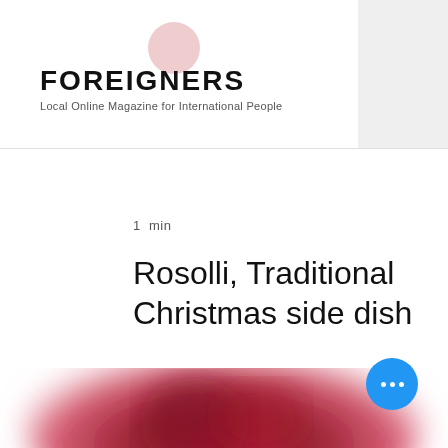FOREIGNERS — Local Online Magazine for International People
1  min
Rosolli, Traditional Christmas side dish
[Figure (photo): A blurred close-up photo of a red beet salad dish (Rosolli), a traditional Finnish Christmas side dish.]